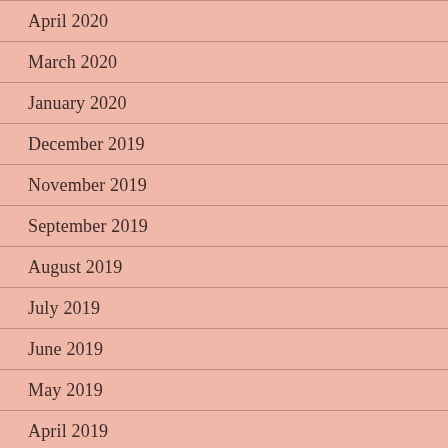April 2020
March 2020
January 2020
December 2019
November 2019
September 2019
August 2019
July 2019
June 2019
May 2019
April 2019